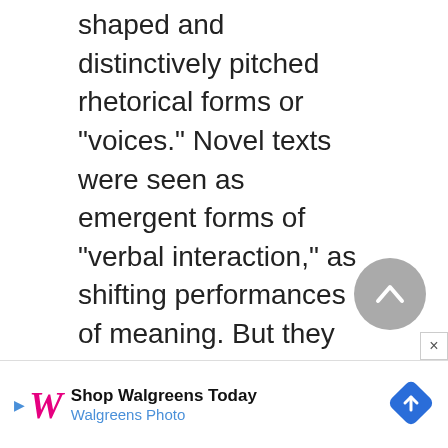shaped and distinctively pitched rhetorical forms or "voices." Novel texts were seen as emergent forms of "verbal interaction," as shifting performances of meaning. But they are not mere repetitions of past meanings that were already present in the system.

The focus on a creative social-historical logic of discourse was balanced by the exploration of a semiotic logic of the utterance, adding structural...
[Figure (other): Circular scroll-up navigation button (grey circle with upward chevron)]
[Figure (other): Walgreens advertisement banner: 'Shop Walgreens Today / Walgreens Photo' with Walgreens logo and blue diamond navigation icon. Close (x) button in top-right corner.]